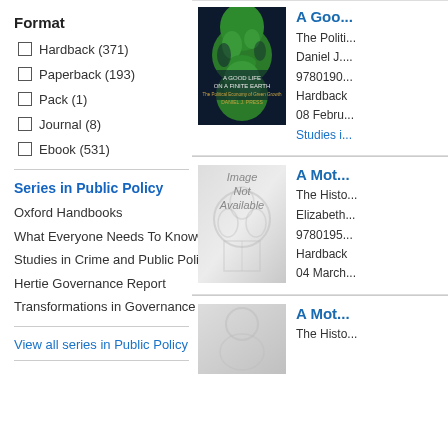Format
Hardback (371)
Paperback (193)
Pack (1)
Journal (8)
Ebook (531)
Series in Public Policy
Oxford Handbooks
What Everyone Needs To Know®
Studies in Crime and Public Policy
Hertie Governance Report
Transformations in Governance
View all series in Public Policy
[Figure (photo): Book cover: A Good Life on a Finite Earth showing a green Earth globe on dark background]
A Goo...
The Politi...
Daniel J. ...
9780190... Hardback 08 Febru... Studies i...
[Figure (photo): Image Not Available placeholder for book cover A Mot...]
A Mot...
The Histo...
Elizabeth...
9780195... Hardback 04 March...
[Figure (photo): Partial book cover image at bottom, gray]
A Mot...
The Histo...